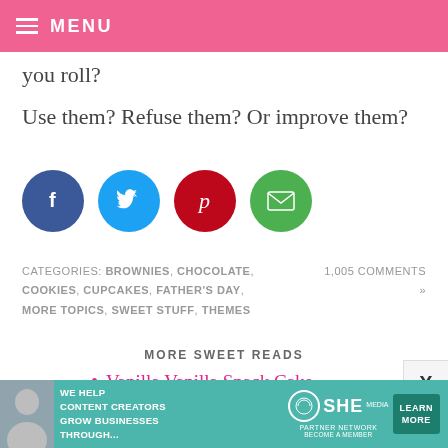MENU
you roll?
Use them? Refuse them? Or improve them?
[Figure (infographic): Four social sharing buttons: Facebook (dark blue circle, f), Twitter (light blue circle, bird), Pinterest (red circle, P), Email (green circle, envelope)]
CATEGORIES: BROWNIES, CHOCOLATE, COOKIES, CUPCAKES, FATHER'S DAY, MORE TOPICS, SWEET STUFF, THEMES
1,005 COMMENTS »
MORE SWEET READS
Vanilla Vanilla Snack Cake
[Figure (infographic): Advertisement banner for SHE Media Partner Network: 'We help content creators grow businesses through...' with a Learn More button]